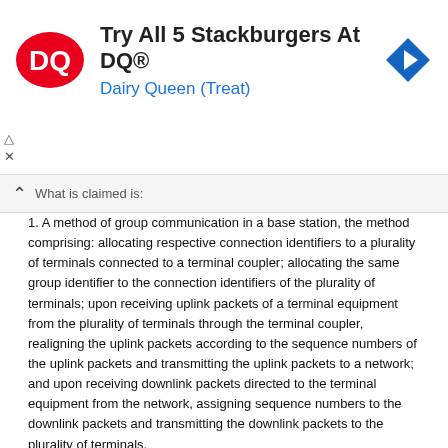[Figure (infographic): Dairy Queen advertisement banner with DQ logo, text 'Try All 5 Stackburgers At DQ®' and 'Dairy Queen (Treat)', and a blue navigation arrow icon]
What is claimed is:
1. A method of group communication in a base station, the method comprising: allocating respective connection identifiers to a plurality of terminals connected to a terminal coupler; allocating the same group identifier to the connection identifiers of the plurality of terminals; upon receiving uplink packets of a terminal equipment from the plurality of terminals through the terminal coupler, realigning the uplink packets according to the sequence numbers of the uplink packets and transmitting the uplink packets to a network; and upon receiving downlink packets directed to the terminal equipment from the network, assigning sequence numbers to the downlink packets and transmitting the downlink packets to the plurality of terminals.
2. The method of claim 1, further comprising making a handover decision for the plurality of terminals using communication quality information of the plurality of terminals.